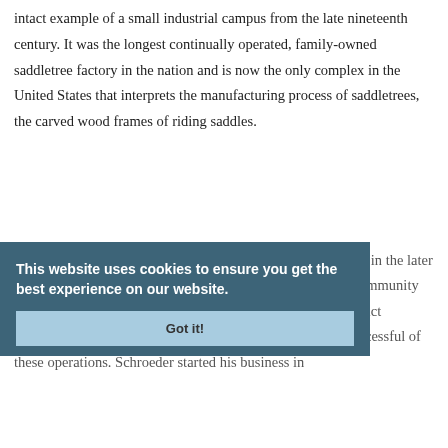intact example of a small industrial campus from the late nineteenth century. It was the longest continually operated, family-owned saddletree factory in the nation and is now the only complex in the United States that interprets the manufacturing process of saddletrees, the carved wood frames of riding saddles.
Madison was known as the saddletree capital of the Midwest in the later part of the nineteenth century. The small southern Indiana community boasted twelve factories that made these devices John Benedict Schroeder, a Prussian immigrant, owned one of the most successful of these operations. Schroeder started his business in
This website uses cookies to ensure you get the best experience on our website.
Got it!